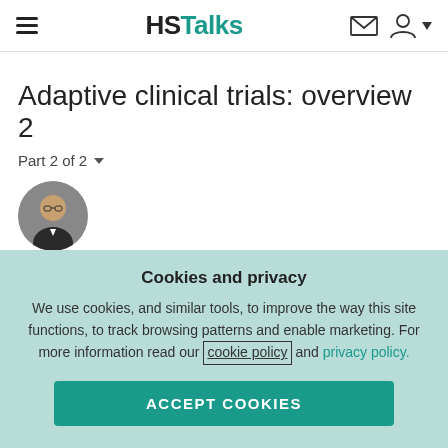HSTalks
Adaptive clinical trials: overview 2
Part 2 of 2
[Figure (photo): Circular headshot photo of Prof. Yu Shyr]
Prof. Yu Shyr – Vanderbilt University Medical Center, USA
Published on August 31, 2017 • 27 min
Cookies and privacy
We use cookies, and similar tools, to improve the way this site functions, to track browsing patterns and enable marketing. For more information read our cookie policy and privacy policy.
ACCEPT COOKIES